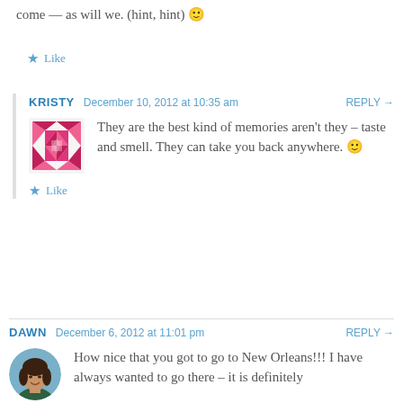come — as will we. (hint, hint) 🙂
★ Like
KRISTY  December 10, 2012 at 10:35 am  REPLY →
They are the best kind of memories aren't they – taste and smell. They can take you back anywhere. 🙂
★ Like
DAWN  December 6, 2012 at 11:01 pm  REPLY →
How nice that you got to go to New Orleans!!! I have always wanted to go there – it is definitely